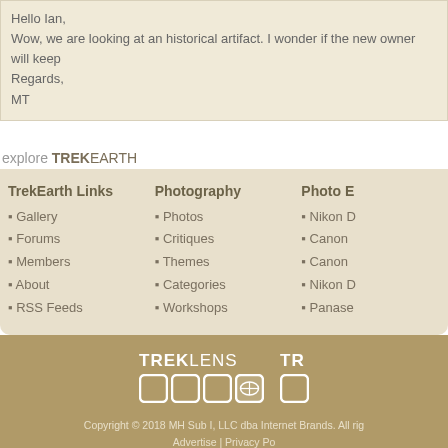Hello Ian,
Wow, we are looking at an historical artifact. I wonder if the new owner will keep
Regards,
MT
explore TREKEARTH
Gallery
Forums
Members
About
RSS Feeds
Photos
Critiques
Themes
Categories
Workshops
Nikon D...
Canon...
Canon...
Nikon D...
Panase...
Copyright © 2018 MH Sub I, LLC dba Internet Brands. All rights reserved.
Advertise | Privacy Policy